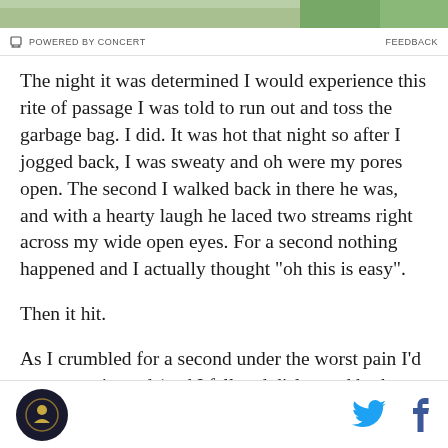[Figure (photo): Partial image at top of page, appears to show greenery/plants]
POWERED BY CONCERT   FEEDBACK
The night it was determined I would experience this rite of passage I was told to run out and toss the garbage bag. I did. It was hot that night so after I jogged back, I was sweaty and oh were my pores open. The second I walked back in there he was, and with a hearty laugh he laced two streams right across my wide open eyes. For a second nothing happened and I actually thought "oh this is easy".
Then it hit.
As I crumbled for a second under the worst pain I'd ever experienced (and I fell and dislocated both my hip
Logo | Twitter | Facebook